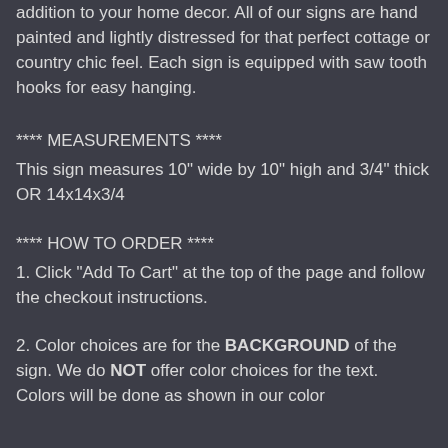addition to your home decor. All of our signs are hand painted and lightly distressed for that perfect cottage or country chic feel. Each sign is equipped with saw tooth hooks for easy hanging.
**** MEASUREMENTS ****
This sign measures 10" wide by 10" high and 3/4" thick OR 14x14x3/4
**** HOW TO ORDER ****
1. Click "Add To Cart" at the top of the page and follow the checkout instructions.
2. Color choices are for the BACKGROUND of the sign. We do NOT offer color choices for the text. Colors will be done as shown in our color